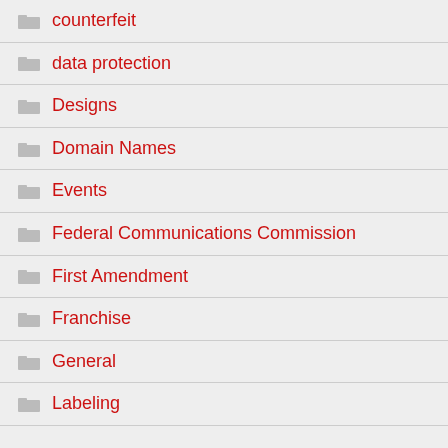counterfeit
data protection
Designs
Domain Names
Events
Federal Communications Commission
First Amendment
Franchise
General
Labeling